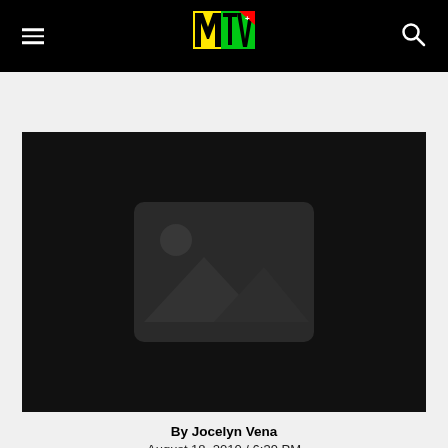MTV navigation bar with hamburger menu, MTV logo, and search icon
[Figure (photo): Large black placeholder image with a grey image placeholder icon (mountain/sun icon) in the center]
By Jocelyn Vena
August 18, 2010 / 6:39 PM